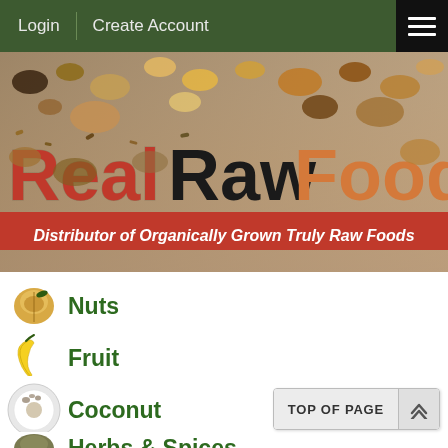Login | Create Account
[Figure (screenshot): Real Raw Food website hero banner with nuts, fruits, and seeds background image. Large text reads 'Real Raw Food' with subtitle 'Distributor of Organically Grown Truly Raw Foods']
Nuts
Fruit
Seeds
Cacao-Chocolate
Coconut
Herbs & Spices